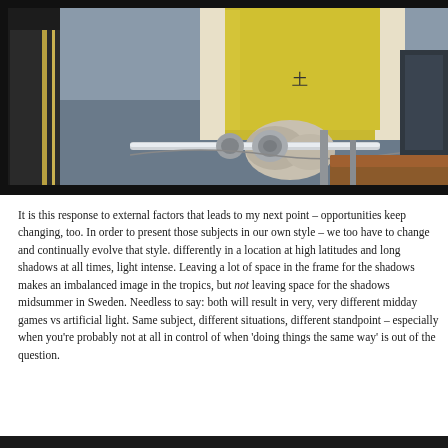[Figure (photo): A construction worker in a yellow safety vest and white gloves using a wrench/bolt tool on a metal rod or rail structure at a construction site. Black background borders the image.]
It is this response to external factors that leads to my next point – opportunities keep changing, too. In order to present those subjects in our own style – we too have to change and continually evolve that style. differently in a location at high latitudes and long shadows at all times, light intense. Leaving a lot of space in the frame for the shadows makes an imbalanced image in the tropics, but not leaving space for the shadows midsummer in Sweden. Needless to say: both will result in very, very different midday games vs artificial light. Same subject, different situations, different standpoint – especially when you're probably not at all in control of when 'doing things the same way' is out of the question.